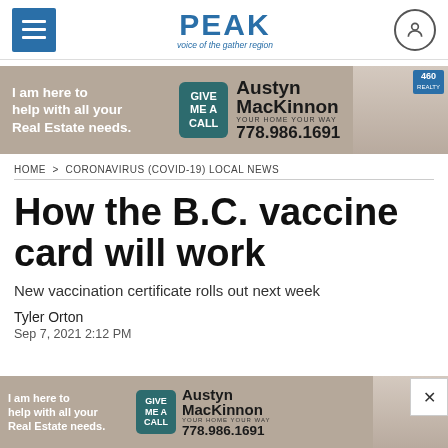PEAK – voice of the gather region
[Figure (illustration): Advertisement banner: I am here to help with all your Real Estate needs. GIVE ME A CALL. Austyn MacKinnon YOUR HOME YOUR WAY 778.986.1691. 460 Realty.]
HOME > CORONAVIRUS (COVID-19) LOCAL NEWS
How the B.C. vaccine card will work
New vaccination certificate rolls out next week
Tyler Orton
Sep 7, 2021 2:12 PM
[Figure (illustration): Bottom advertisement banner: I am here to help with all your Real Estate needs. GIVE ME A CALL. Austyn MacKinnon YOUR HOME YOUR WAY 778.986.1691. 460 Realty.]